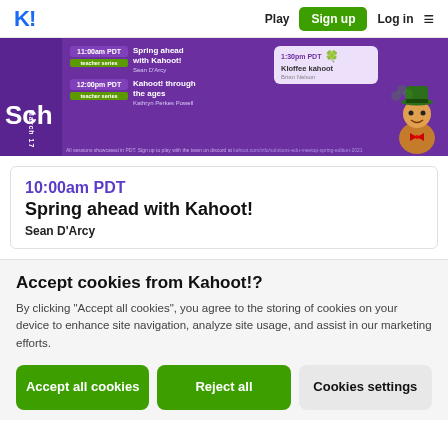K! Play Sign up Log in ≡
[Figure (infographic): Purple Kahoot! schedule banner for March 17 showing session times: 11:00am PDT - Spring ahead with Kahoot! by Sean D'Arcy (teacher series), 12:00pm PDT - Kahoot! through the ages by Kathryn Perkes Powell (teacher series), 1:30pm PDT - Kloffee kahoot by Brian Nelson. Features leprechaun mascot and shamrock decorations.]
10:00am PDT
Spring ahead with Kahoot!
Sean D'Arcy
Accept cookies from Kahoot!?
By clicking "Accept all cookies", you agree to the storing of cookies on your device to enhance site navigation, analyze site usage, and assist in our marketing efforts.
Accept all cookies
Reject all
Cookies settings